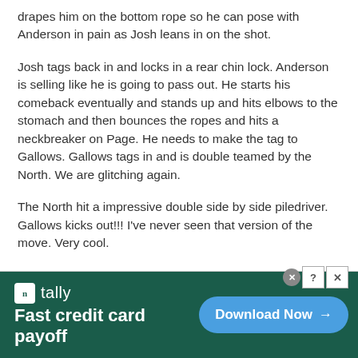drapes him on the bottom rope so he can pose with Anderson in pain as Josh leans in on the shot.
Josh tags back in and locks in a rear chin lock.  Anderson is selling like he is going to pass out.  He starts his comeback eventually and stands up and hits elbows to the stomach and then bounces the ropes and hits a neckbreaker on Page.  He needs to make the tag to Gallows.  Gallows tags in and is double teamed by the North.  We are glitching again.
The North hit a impressive double side by side piledriver.  Gallows kicks out!!!  I've never seen that version of the move.  Very cool.
Alexander locks Gallows in the torcher rack.  Glitch.
[Figure (other): Advertisement banner for Tally app - Fast credit card payoff, with Download Now button on dark green background]